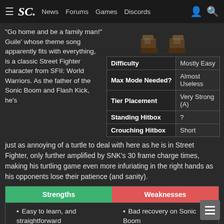≡ SC News Forums Games Discords
"Go home and be a family man!" Guile' whose theme song apparently fits with everything, is a classic Street Fighter character from SFII: World Warriors. As the father of the Sonic Boom and Flash Kick, he's
|  |  |
| --- | --- |
| Difficulty | Mostly Easy |
| Max Mode Needed? | Almost Useless |
| Tier Placement | Very Strong (A) |
| Standing Hitbox | ? |
| Crouching Hitbox | Short |
just as annoying of a turtle to deal with here as he is in Street Fighter, only further amplified by SNK's 30 frame charge times, making his turtling game even more infuriating in the right hands as his opponents lose their patience (and sanity).
| Strengths | Weaknesses |
| --- | --- |
| Easy to learn, and straightforward
Exceptional turtle game
Forces players to be on... | Bad recovery on Sonic Boom
Very unsafe anti-air
supers... |